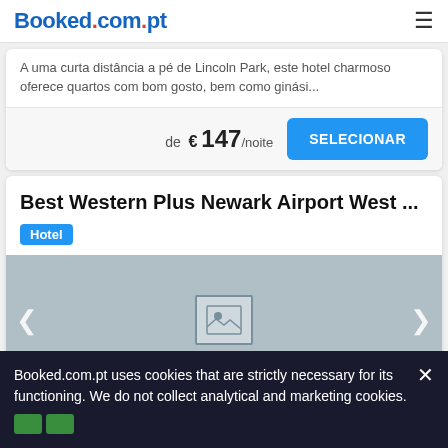Booked.com.pt
A uma curta distância a pé de Lincoln Park, este hotel charmoso oferece quartos com bom gosto, bem como ginási...
de € 147/noite
SELECIONAR
Best Western Plus Newark Airport West ...
Hotel
[Figure (photo): Hotel image placeholder with grey background and image icon, navigation arrows on left and right]
Booked.com.pt uses cookies that are strictly necessary for its functioning. We do not collect analytical and marketing cookies.